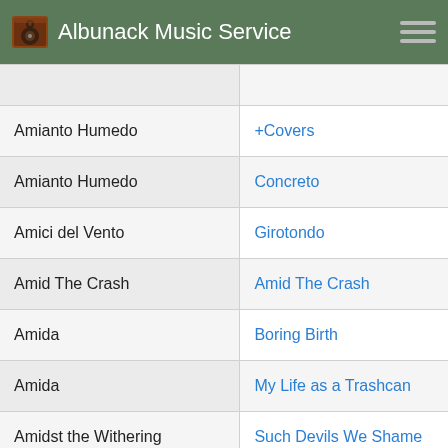Albunack Music Service
| Artist | Album |
| --- | --- |
| Amianto Humedo | +Covers |
| Amianto Humedo | Concreto |
| Amici del Vento | Girotondo |
| Amid The Crash | Amid The Crash |
| Amida | Boring Birth |
| Amida | My Life as a Trashcan |
| Amidst the Withering | Such Devils We Shame |